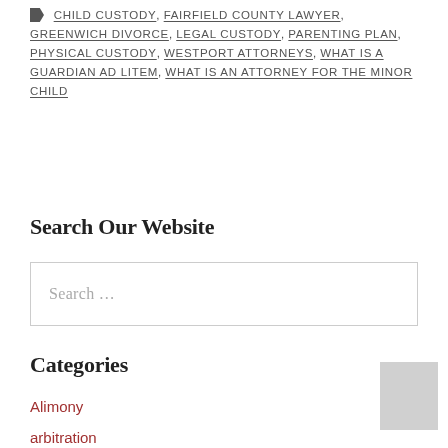CHILD CUSTODY, FAIRFIELD COUNTY LAWYER, GREENWICH DIVORCE, LEGAL CUSTODY, PARENTING PLAN, PHYSICAL CUSTODY, WESTPORT ATTORNEYS, WHAT IS A GUARDIAN AD LITEM, WHAT IS AN ATTORNEY FOR THE MINOR CHILD
Search Our Website
Search ...
Categories
Alimony
arbitration